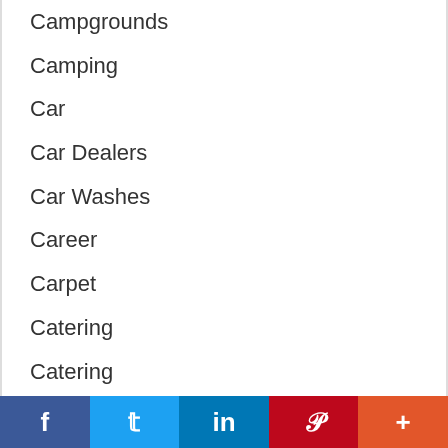Campgrounds
Camping
Car
Car Dealers
Car Washes
Career
Carpet
Catering
Catering
Celebrations
Charities
Childcare
Cleaning
Clothing
[Figure (infographic): Social media sharing bar with Facebook (blue), Twitter (light blue), LinkedIn (dark blue), Pinterest (red), and More (orange-red) buttons]